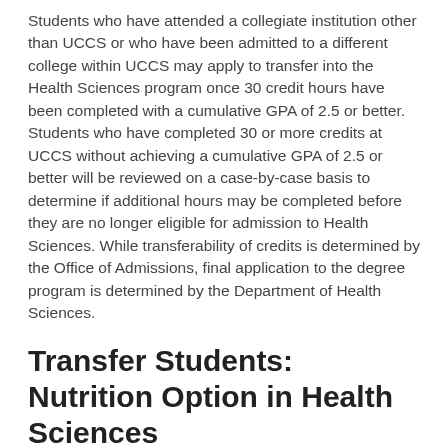Students who have attended a collegiate institution other than UCCS or who have been admitted to a different college within UCCS may apply to transfer into the Health Sciences program once 30 credit hours have been completed with a cumulative GPA of 2.5 or better. Students who have completed 30 or more credits at UCCS without achieving a cumulative GPA of 2.5 or better will be reviewed on a case-by-case basis to determine if additional hours may be completed before they are no longer eligible for admission to Health Sciences. While transferability of credits is determined by the Office of Admissions, final application to the degree program is determined by the Department of Health Sciences.
Transfer Students: Nutrition Option in Health Sciences
Students who have attended a collegiate institution other than UCCS, or who have been admitted to a different college within UCCS, may apply to transfer into the Nutrition Option in the Health Sciences program